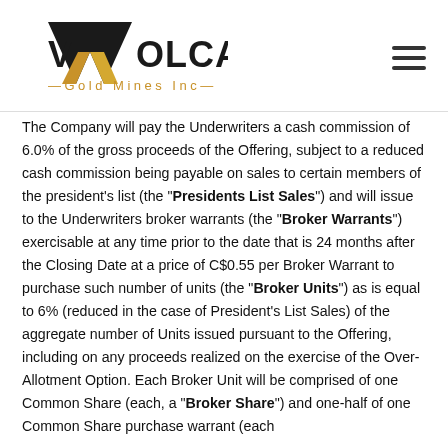[Figure (logo): Volcanic Gold Mines Inc. logo with stylized V shape in gold and black, company name below in gold and black text]
The Company will pay the Underwriters a cash commission of 6.0% of the gross proceeds of the Offering, subject to a reduced cash commission being payable on sales to certain members of the president's list (the "Presidents List Sales") and will issue to the Underwriters broker warrants (the "Broker Warrants") exercisable at any time prior to the date that is 24 months after the Closing Date at a price of C$0.55 per Broker Warrant to purchase such number of units (the "Broker Units") as is equal to 6% (reduced in the case of President's List Sales) of the aggregate number of Units issued pursuant to the Offering, including on any proceeds realized on the exercise of the Over-Allotment Option. Each Broker Unit will be comprised of one Common Share (each, a "Broker Share") and one-half of one Common Share purchase warrant (each